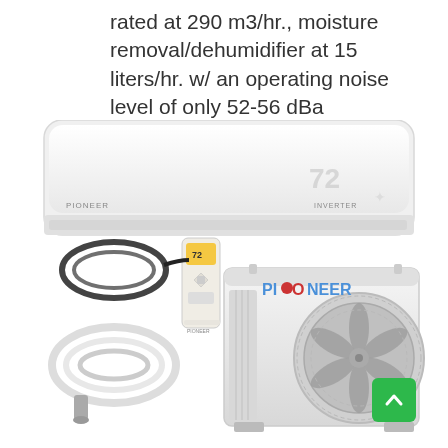rated at 290 m3/hr., moisture removal/dehumidifier at 15 liters/hr. w/ an operating noise level of only 52-56 dBa
[Figure (photo): Pioneer mini-split air conditioner system showing indoor wall unit with '72' displayed, outdoor compressor unit with 'PIONEER' branding, remote control showing '72', black refrigerant line set coiled, and white connection kit/hoses. A green scroll-to-top button with an upward arrow appears in the bottom right corner.]